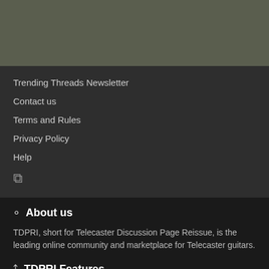Trending Threads Newsletter
Contact us
Terms and Rules
Privacy Policy
Help
RSS
About us
TDPRI, short for Telecaster Discussion Page Reissue, is the leading online community and marketplace for Telecaster guitars.
TDPRI Features
Forums List
Media Gallery